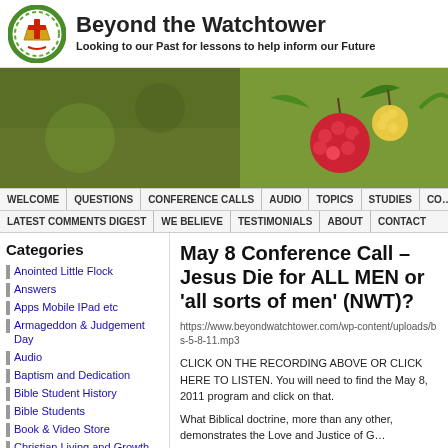Beyond the Watchtower — Looking to our Past for lessons to help inform our Future
[Figure (photo): Banner photograph of raspberries and green leaves, split two-tone green background]
WELCOME | QUESTIONS | CONFERENCE CALLS | AUDIO | TOPICS | STUDIES | CO...
LATEST COMMENTS DIGEST | WE BELIEVE | TESTIMONIALS | ABOUT | CONTACT
Categories
Anointed Little Flock
Answers
Apps Mobile IPad etc
Armageddon & Judgement Day
Audio
Baptism and Dedication
Bible Student History
Bible Students
Book & Video Store
Christian Living and Growth
Children
May 8 Conference Call – Jesus Die for ALL MEN or 'all sorts of men' (NWT)?
https://www.beyondwatchtower.com/wp-content/uploads/bs-5-8-11.mp3
CLICK ON THE RECORDING ABOVE OR CLICK HERE TO LISTEN. You will need to find the May 8, 2011 program and click on that.
What Biblical doctrine, more than any other, demonstrates the Love and Justice of G...